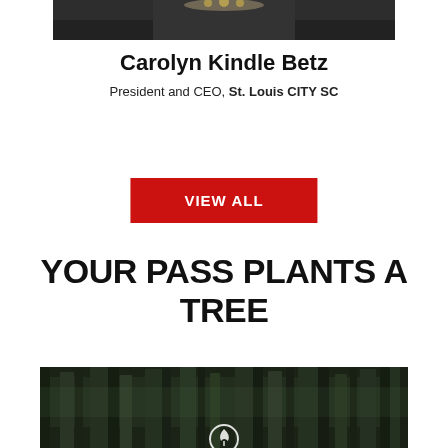[Figure (photo): Bottom portion of a person (Carolyn Kindle Betz) wearing a jeweled necklace against a dark background]
Carolyn Kindle Betz
President and CEO, St. Louis CITY SC
VIEW ALL
YOUR PASS PLANTS A TREE
[Figure (photo): A dark forest scene with tall tree trunks and a circular logo/emblem at the bottom center]